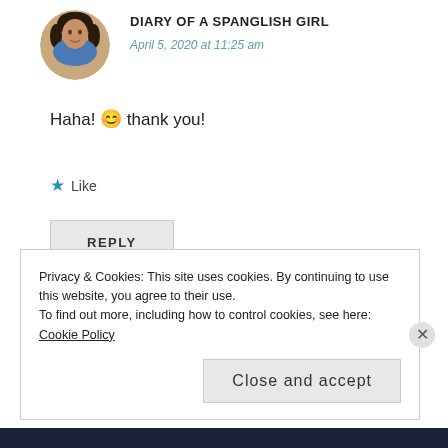[Figure (photo): Circular avatar photo of a woman with dark hair against an outdoor background]
DIARY OF A SPANGLISH GIRL
April 5, 2020 at 11:25 am
Haha! 😊 thank you!
★ Like
REPLY
Privacy & Cookies: This site uses cookies. By continuing to use this website, you agree to their use.
To find out more, including how to control cookies, see here: Cookie Policy
Close and accept